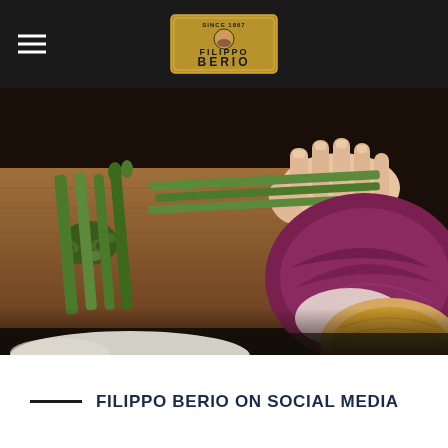[Figure (logo): Filippo Berio logo — gold rectangular badge with 'SINCE 1867' at top, portrait of Filippo Berio, and 'FILIPPO BERIO' text in bold gold on dark background]
[Figure (photo): Close-up photo of vegetables being prepared on a wooden cutting board: chopped asparagus, whole asparagus stalks, red cabbage half, and onion on a dark kitchen surface]
FILIPPO BERIO ON SOCIAL MEDIA